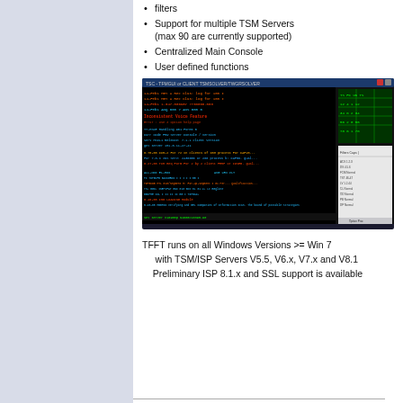filters
Support for multiple TSM Servers (max 90 are currently supported)
Centralized Main Console
User defined functions
[Figure (screenshot): Screenshot of TFFT software running on Windows showing a terminal-style interface with colored text (orange, green, cyan) on black background, alongside a panel with green data tables on the right side.]
TFFT runs on all Windows Versions >= Win 7
    with TSM/ISP Servers V5.5, V6.x, V7.x and V8.1
    Preliminary ISP 8.1.x and SSL support is available